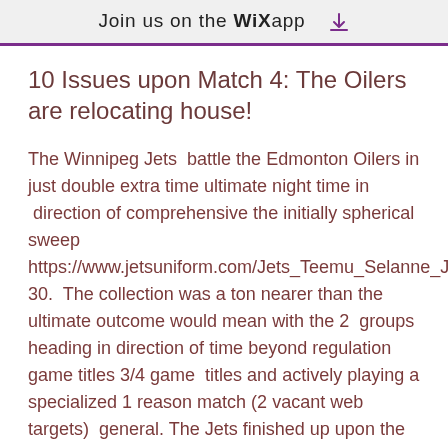Join us on the WiX app
10 Issues upon Match 4: The Oilers are relocating house!
The Winnipeg Jets  battle the Edmonton Oilers in just double extra time ultimate night time in  direction of comprehensive the initially spherical sweep https://www.jetsuniform.com/Jets_Teemu_Selanne_Jersey-30.  The collection was a ton nearer than the ultimate outcome would mean with the 2  groups heading in direction of time beyond regulation game titles 3/4 game  titles and actively playing a specialized 1 reason match (2 vacant web targets)  general. The Jets finished up upon the greater aspect within just every single  of people situations. We observed Connor Hellebuyck participate in high-quality